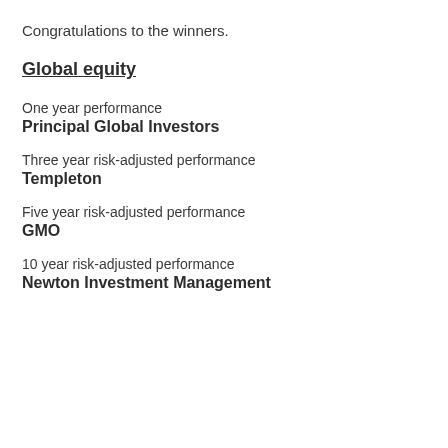Congratulations to the winners.
Global equity
One year performance
Principal Global Investors
Three year risk-adjusted performance
Templeton
Five year risk-adjusted performance
GMO
10 year risk-adjusted performance
Newton Investment Management